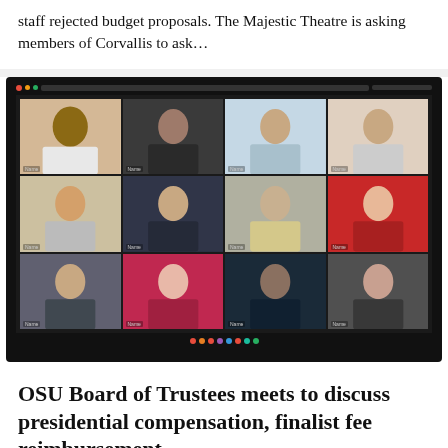staff rejected budget proposals. The Majestic Theatre is asking members of Corvallis to ask…
[Figure (photo): A laptop or monitor screen showing a Zoom video conference call with 12 participants arranged in a 4x3 grid. The participants are visible in individual video tiles against various office and home backgrounds. A smartphone is visible on the right side of the frame.]
OSU Board of Trustees meets to discuss presidential compensation, finalist fee reimbursement
May 6, 2022